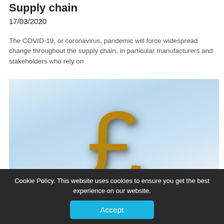Supply chain
17/03/2020
The COVID-19, or coronavirus, pandemic will force widespread change throughout the supply chain, in particular manufacturers and stakeholders who rely on
[Figure (photo): A gold-coloured British pound sterling (£) currency symbol rendered as a 3D metallic object, standing upright on a reflective surface against a light blue gradient background.]
Cookie Policy. This website uses cookies to ensure you get the best experience on our website.